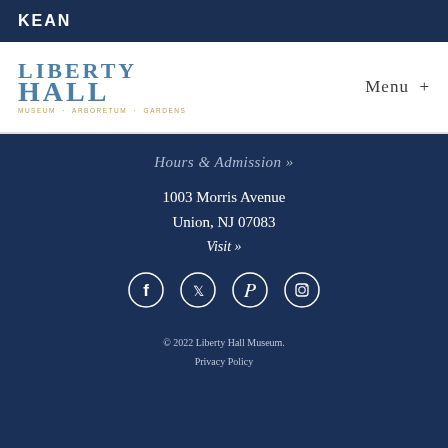KEAN
[Figure (logo): Liberty Hall Museum logo with text LIBERTY HALL, MUSEUM · ARBORETUM · GARDENS]
Menu +
Hours & Admission »
1003 Morris Avenue
Union, NJ 07083
Visit »
[Figure (other): Social media icons: Facebook, Twitter, Pinterest, Instagram]
© 2022 Liberty Hall Museum.
Privacy Policy